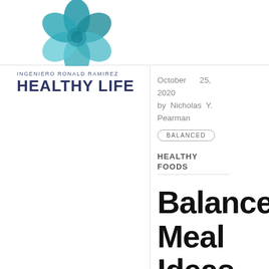[Figure (logo): Healthy Life flower/petal logo in teal and blue tones]
INGENIERO RONALD RAMIREZ
HEALTHY LIFE
October 25, 2020
by Nicholas Y. Pearman
BALANCED
HEALTHY FOODS
Balanced Meal Ideas,